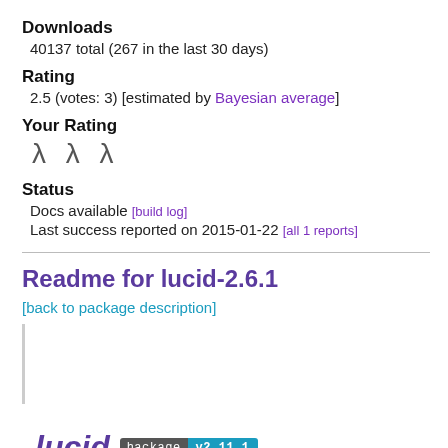Downloads
40137 total (267 in the last 30 days)
Rating
2.5 (votes: 3) [estimated by Bayesian average]
Your Rating
λ λ λ
Status
Docs available [build log]
Last success reported on 2015-01-22 [all 1 reports]
Readme for lucid-2.6.1
[back to package description]
[Figure (logo): lucid logo with hackage badge showing v2.11.1]